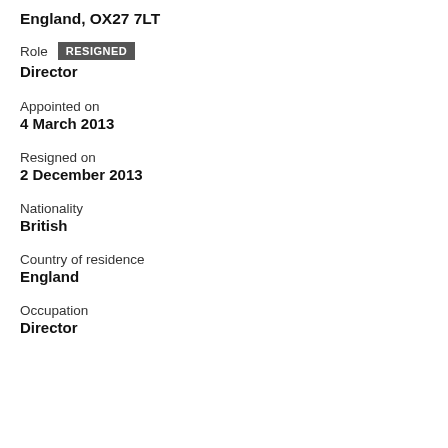England, OX27 7LT
Role RESIGNED
Director
Appointed on
4 March 2013
Resigned on
2 December 2013
Nationality
British
Country of residence
England
Occupation
Director